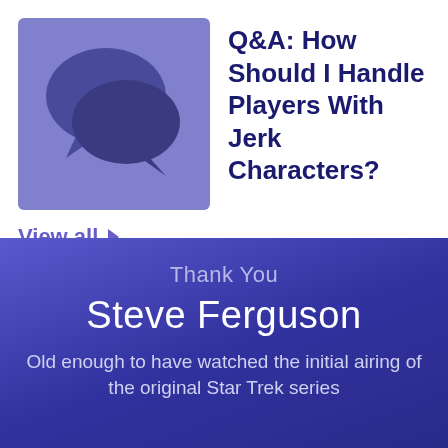[Figure (illustration): Light purple/blue square background with two overlapping speech bubble icons in darker purple/blue]
Q&A: How Should I Handle Players With Jerk Characters?
View all ▶
Thank You
Steve Ferguson
Old enough to have watched the initial airing of the original Star Trek series